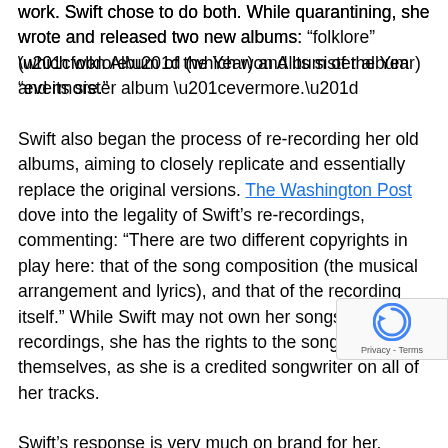work. Swift chose to do both. While quarantining, she wrote and released two new albums: “folklore” (which won Album of the Year) and its sister album “evermore.”
Swift also began the process of re-recording her old albums, aiming to closely replicate and essentially replace the original versions. The Washington Post dove into the legality of Swift’s re-recordings, commenting: “There are two different copyrights in play here: that of the song composition (the musical arrangement and lyrics), and that of the recording itself.” While Swift may not own her songs’ master recordings, she has the rights to the songs themselves, as she is a credited songwriter on all of her tracks.
Swift’s response is very much on brand for her. When dealing with difficulty, she has always turned to music; this moment is no different. “Fearless (Taylor’s Version)” includes all 26 songs from the album’s platinum version